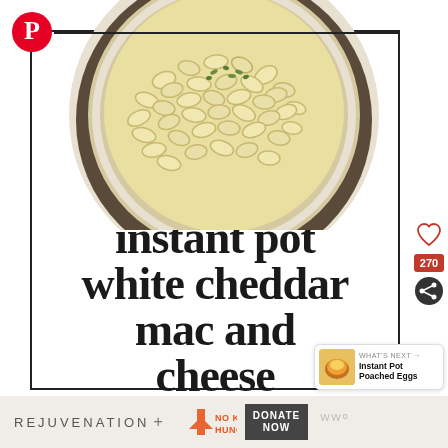[Figure (photo): A bowl of mac and cheese pasta with herbs, viewed from above, circular crop]
instant pot white cheddar mac and cheese
[Figure (infographic): Pinterest logo icon (white P on red circle) top left; heart icon with count 270 and share icon on right; What's Next banner showing Instant Pot Poached Eggs]
[Figure (logo): Bottom banner: REJUVENATION + NO KID HUNGRY with DONATE NOW button and WW logo]